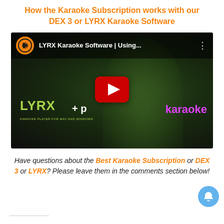How the Karaoke Subscription works with our DEX 3 or LYRX Karaoke Software
[Figure (screenshot): YouTube video thumbnail showing LYRX Karaoke Software video with play button, green-tinted woman background, LYRX logo text in green, plus sign, and 'karaoke' text in pink/magenta. Video title reads 'LYRX Karaoke Software | Using...']
Have questions about the Best Karaoke Subscription or DEX 3 or LYRX? Please leave them in the comments section below!